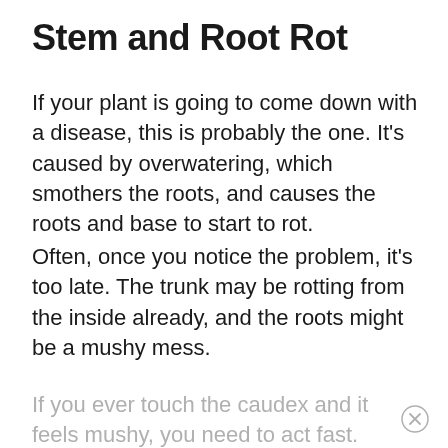Stem and Root Rot
If your plant is going to come down with a disease, this is probably the one. It’s caused by overwatering, which smothers the roots, and causes the roots and base to start to rot.
Often, once you notice the problem, it’s too late. The trunk may be rotting from the inside already, and the roots might be a mushy mess.
If you ever touch the caudex and it feels mushy, you need to act fast.